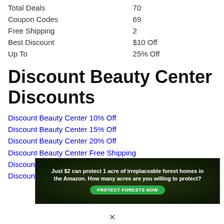| Total Deals | 70 |
| Coupon Codes | 69 |
| Free Shipping | 2 |
| Best Discount | $10 Off |
| Up To | 25% Off |
Discount Beauty Center Discounts
Discount Beauty Center 10% Off
Discount Beauty Center 15% Off
Discount Beauty Center 20% Off
Discount Beauty Center Free Shipping
Discount Beauty Center $5 Off
Discount Beauty Center $10 Off
[Figure (infographic): Advertisement banner: 'Just $2 can protect 1 acre of irreplaceable forest homes in the Amazon. How many acres are you willing to protect?' with a green 'PROTECT FORESTS NOW' button and forest/monkey imagery.]